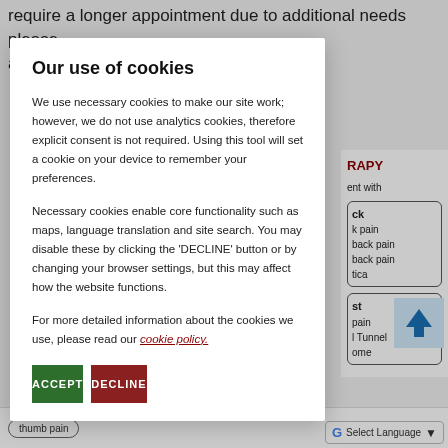require a longer appointment due to additional needs please ad...
RAPY
ent with
Our use of cookies
We use necessary cookies to make our site work; however, we do not use analytics cookies, therefore explicit consent is not required. Using this tool will set a cookie on your device to remember your preferences.
Necessary cookies enable core functionality such as maps, language translation and site search. You may disable these by clicking the 'DECLINE' button or by changing your browser settings, but this may affect how the website functions.
For more detailed information about the cookies we use, please read our cookie policy.
ACCEPT
DECLINE
ck
k pain
back pain
back pain
tica
st
pain
l Tunnel
ome
thumb pain
Select Language